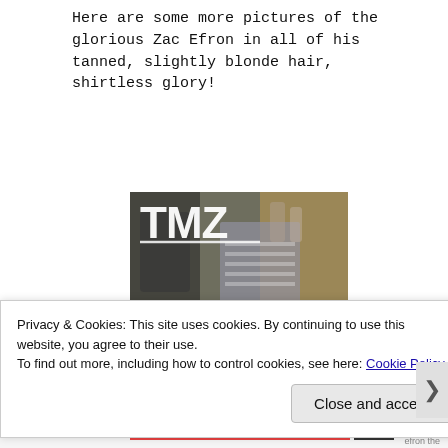Here are some more pictures of the glorious Zac Efron in all of his tanned, slightly blonde hair, shirtless glory!
[Figure (photo): A TMZ watermarked photo showing a person on a busy street, the TMZ logo in white in the upper left corner]
Privacy & Cookies: This site uses cookies. By continuing to use this website, you agree to their use.
To find out more, including how to control cookies, see here: Cookie Policy
Close and accept